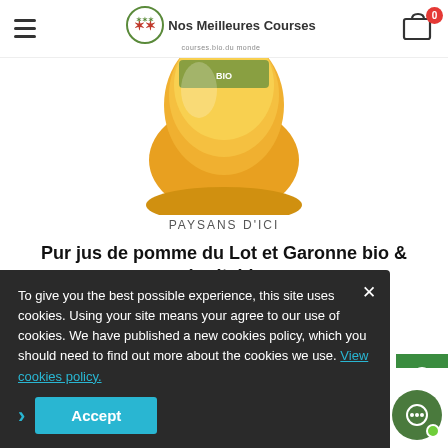Nos Meilleures Courses — navigation header with hamburger menu and cart icon (0 items)
[Figure (photo): Partial product image showing a yellow/orange rounded object (jar or bottle of apple juice) on white background, cropped at the top]
PAYSANS D'ICI
Pur jus de pomme du Lot et Garonne bio & équitable
1 L - Origine : France (Lot et Garonne)
3.50 €
To give you the best possible experience, this site uses cookies. Using your site means your agree to our use of cookies. We have published a new cookies policy, which you should need to find out more about the cookies we use. View cookies policy.
Accept
Top